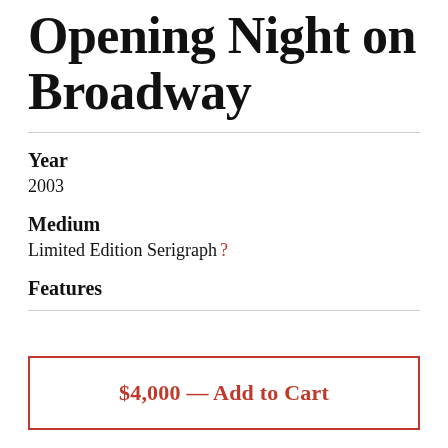Opening Night on Broadway
Year
2003
Medium
Limited Edition Serigraph ?
Features
$4,000 — Add to Cart